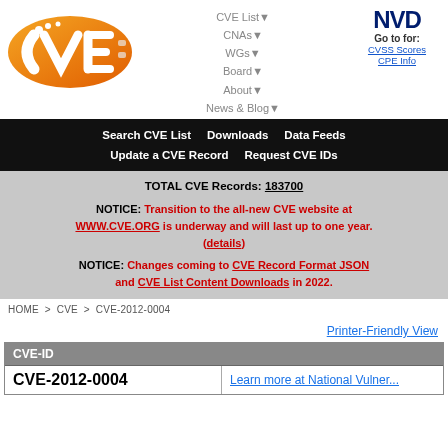[Figure (logo): CVE orange logo]
[Figure (logo): NVD logo with Go to for: CVSS Scores, CPE Info links]
CVE List▼ CNAs▼ WGs▼ Board▼ About▼ News & Blog▼
Search CVE List  Downloads  Data Feeds  Update a CVE Record  Request CVE IDs
TOTAL CVE Records: 183700

NOTICE: Transition to the all-new CVE website at WWW.CVE.ORG is underway and will last up to one year. (details)

NOTICE: Changes coming to CVE Record Format JSON and CVE List Content Downloads in 2022.
HOME > CVE > CVE-2012-0004
Printer-Friendly View
| CVE-ID |  |
| --- | --- |
| CVE-2012-0004 | Learn more at National Vulner... |